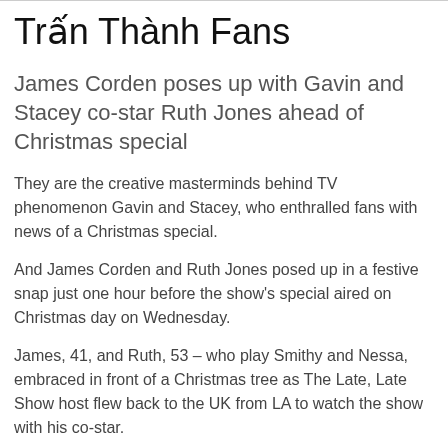Trấn Thành Fans
James Corden poses up with Gavin and Stacey co-star Ruth Jones ahead of Christmas special
They are the creative masterminds behind TV phenomenon Gavin and Stacey, who enthralled fans with news of a Christmas special.
And James Corden and Ruth Jones posed up in a festive snap just one hour before the show's special aired on Christmas day on Wednesday.
James, 41, and Ruth, 53 – who play Smithy and Nessa, embraced in front of a Christmas tree as The Late, Late Show host flew back to the UK from LA to watch the show with his co-star.